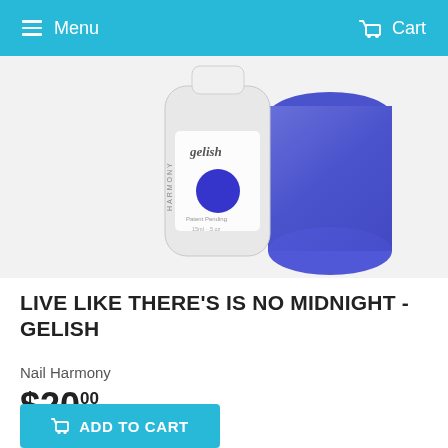Menu   Cart
[Figure (photo): Gelish nail gel polish bottle (white, with blue circle swatch and 'gelish' branding by Harmony) next to a nail swatch showing the color - a vivid cobalt blue shimmer]
LIVE LIKE THERE'S IS NO MIDNIGHT - GELISH
Nail Harmony
$20.00
ADD TO CART